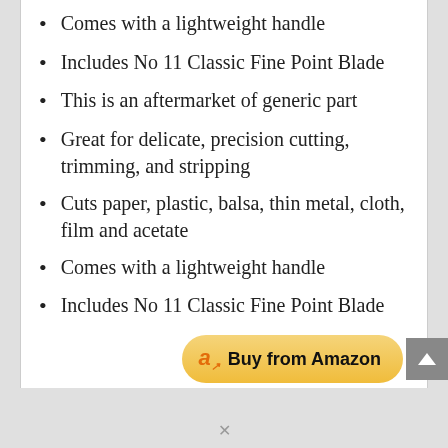Comes with a lightweight handle
Includes No 11 Classic Fine Point Blade
This is an aftermarket of generic part
Great for delicate, precision cutting, trimming, and stripping
Cuts paper, plastic, balsa, thin metal, cloth, film and acetate
Comes with a lightweight handle
Includes No 11 Classic Fine Point Blade
[Figure (other): Buy from Amazon button with Amazon logo]